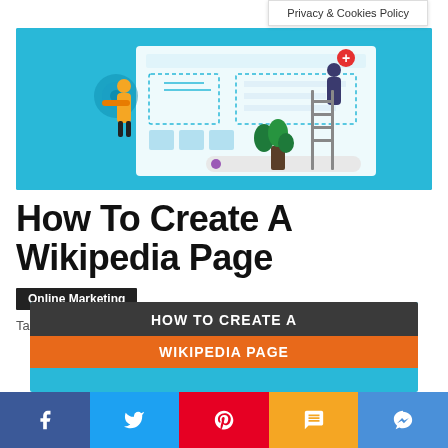Privacy & Cookies Policy
[Figure (illustration): Illustration of two people building/designing a web page on a large screen with UI elements, on a teal/blue background]
How To Create A Wikipedia Page
Online Marketing
Tagged local marketing, local seo, seo
[Figure (infographic): Partial infographic card showing 'HOW TO CREATE A WIKIPEDIA PAGE' text on dark and orange background strips over teal background]